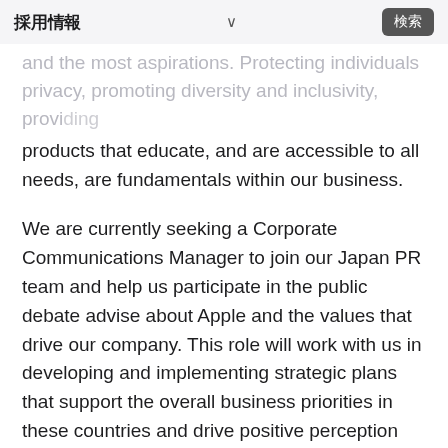採用情報  ∨  検索
and the most aspirations. Protecting individuals privacy, promoting diversity and inclusivity, providing products that educate, and are accessible to all needs, are fundamentals within our business.
We are currently seeking a Corporate Communications Manager to join our Japan PR team and help us participate in the public debate advise about Apple and the values that drive our company. This role will work with us in developing and implementing strategic plans that support the overall business priorities in these countries and drive positive perception locally. The successful candidate will be responsible for proactively managing wider media activities which in include consumer media, social and experts that we should engage with to communicate Apple's contribution locally, focused on key areas